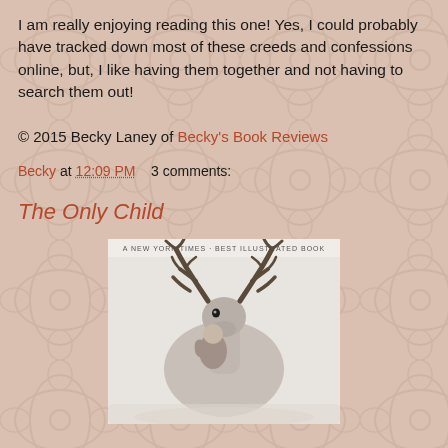I am really enjoying reading this one! Yes, I could probably have tracked down most of these creeds and confessions online, but, I like having them together and not having to search them out!
© 2015 Becky Laney of Becky's Book Reviews
Becky at 12:09 PM    3 comments:
The Only Child
[Figure (photo): Book cover of 'The Only Child' showing a child hugging a large deer/reindeer, with text 'A NEW YORK TIMES BEST ILLUSTRATED BOOK' at the top. Black and white photograph style illustration.]